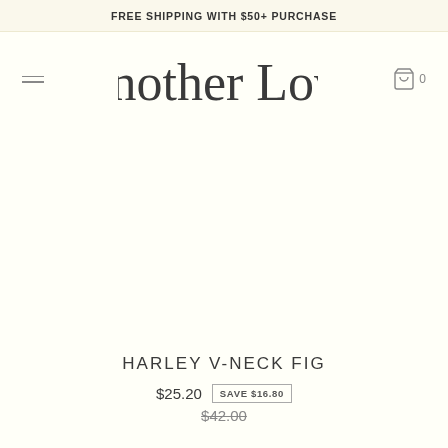FREE SHIPPING WITH $50+ PURCHASE
[Figure (logo): Another Love cursive script logo]
[Figure (other): Product image area (blank/white) for HARLEY V-NECK FIG]
HARLEY V-NECK FIG
$25.20  SAVE $16.80  $42.00